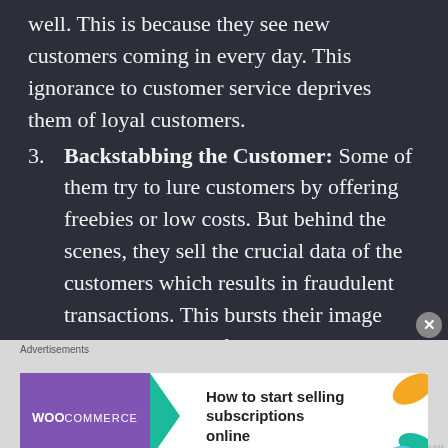well. This is because they see new customers coming in every day. This ignorance to customer service deprives them of loyal customers.
3. Backstabbing the Customer: Some of them try to lure customers by offering freebies or low costs. But behind the scenes, they sell the crucial data of the customers which results in fraudulent transactions. This bursts their image overnight. Most of the discount brokerage houses fall in this category.
4. Copy Cats with No Sharpness: Most of them just want to copy someone else and try to gain
[Figure (screenshot): WooCommerce advertisement banner: purple box with WooCommerce logo, teal arrow, and text 'How to start selling subscriptions online' with orange and teal decorative shapes]